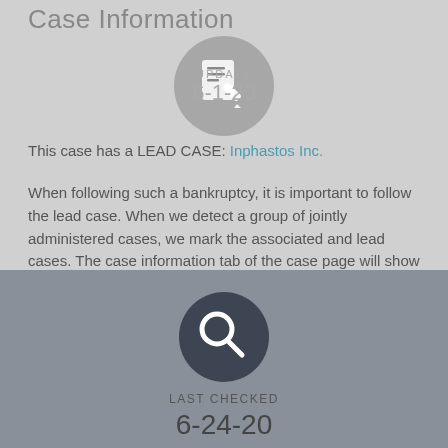Case Information
This case has a LEAD CASE: Inphastos Inc.
[Figure (illustration): Circular icon with document/notepad and pencil, representing an update action, overlaid with UPDATE label and date 6-1-20]
When following such a bankruptcy, it is important to follow the lead case. When we detect a group of jointly administered cases, we mark the associated and lead cases. The case information tab of the case page will show whether a case is associated with a lead case, or is a lead case and has associated cases.
[Figure (illustration): Dark circular icon with magnifying glass search symbol]
LAST CHECKED
6-24-20